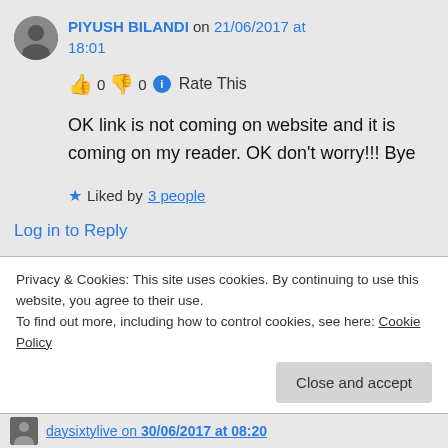PIYUSH BILANDI on 21/06/2017 at 18:01
👍 0 👎 0 ℹ Rate This
OK link is not coming on website and it is coming on my reader. OK don't worry!!! Bye
★ Liked by 3 people
Log in to Reply
Privacy & Cookies: This site uses cookies. By continuing to use this website, you agree to their use. To find out more, including how to control cookies, see here: Cookie Policy
Close and accept
daysixtylive on 30/06/2017 at 08:20